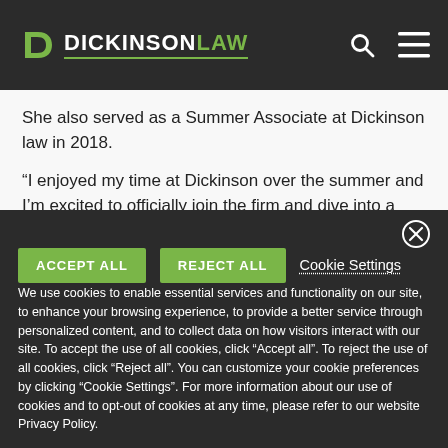DICKINSON LAW
She also served as a Summer Associate at Dickinson law in 2018.
“I enjoyed my time at Dickinson over the summer and I’m excited to officially join the firm and dive into a variety of interesting fields,” she said.
ACCEPT ALL  REJECT ALL  Cookie Settings
We use cookies to enable essential services and functionality on our site, to enhance your browsing experience, to provide a better service through personalized content, and to collect data on how visitors interact with our site. To accept the use of all cookies, click “Accept all”. To reject the use of all cookies, click “Reject all”. You can customize your cookie preferences by clicking “Cookie Settings”. For more information about our use of cookies and to opt-out of cookies at any time, please refer to our website Privacy Policy.